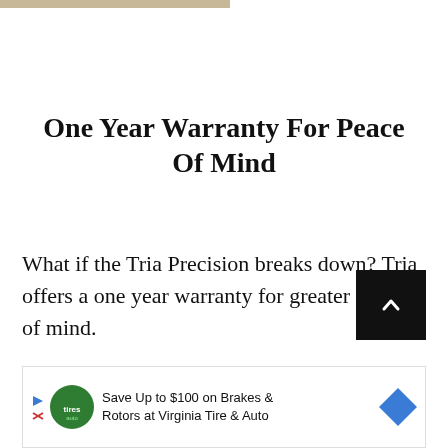One Year Warranty For Peace Of Mind
What if the Tria Precision breaks down? Tria offers a one year warranty for greater peace of mind.
[Figure (other): Black scroll-to-top button with upward chevron arrow]
[Figure (other): Advertisement banner: Save Up to $100 on Brakes & Rotors at Virginia Tire & Auto]